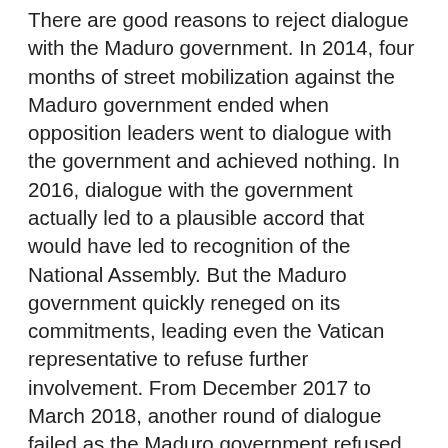There are good reasons to reject dialogue with the Maduro government. In 2014, four months of street mobilization against the Maduro government ended when opposition leaders went to dialogue with the government and achieved nothing. In 2016, dialogue with the government actually led to a plausible accord that would have led to recognition of the National Assembly. But the Maduro government quickly reneged on its commitments, leading even the Vatican representative to refuse further involvement. From December 2017 to March 2018, another round of dialogue failed as the Maduro government refused to sign on to an agreement that some of its allies had drafted. In each case, dialogue gave the Maduro government some breathing room and demobilized the opposition.